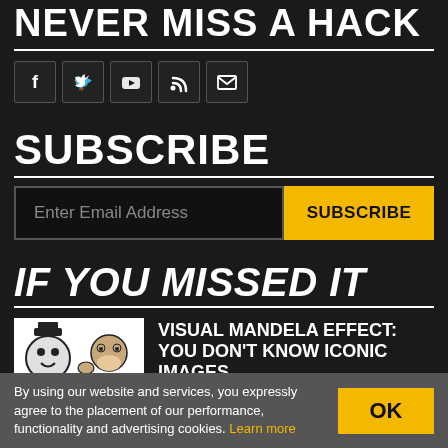NEVER MISS A HACK
[Figure (infographic): Social media icons: Facebook, Twitter, YouTube, RSS, Email]
SUBSCRIBE
Enter Email Address | SUBSCRIBE button
IF YOU MISSED IT
[Figure (illustration): Cartoon illustration with characters in black and white]
VISUAL MANDELA EFFECT: YOU DON'T KNOW ICONIC IMAGES
By using our website and services, you expressly agree to the placement of our performance, functionality and advertising cookies. Learn more